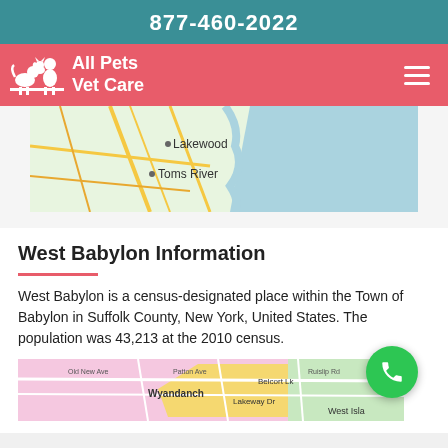877-460-2022
All Pets Vet Care
[Figure (map): Partial Google Maps view showing Lakewood and Toms River area of New Jersey coast]
West Babylon Information
West Babylon is a census-designated place within the Town of Babylon in Suffolk County, New York, United States. The population was 43,213 at the 2010 census.
[Figure (map): Partial Google Maps view showing West Babylon and Wyandanch area of Long Island, New York]